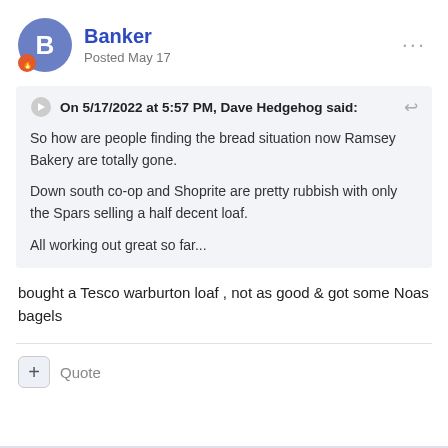Banker
Posted May 17
On 5/17/2022 at 5:57 PM, Dave Hedgehog said:

So how are people finding the bread situation now Ramsey Bakery are totally gone.

Down south co-op and Shoprite are pretty rubbish with only the Spars selling a half decent loaf.

All working out great so far...
bought a Tesco warburton loaf , not as good & got some Noas bagels